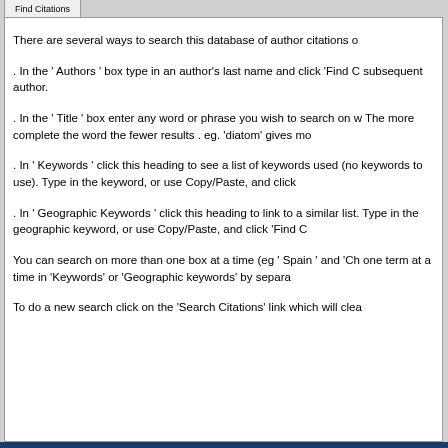Find Citations
There are several ways to search this database of author citations o
. In the ' Authors ' box type in an author's last name and click 'Find C subsequent author.
. In the ' Title ' box enter any word or phrase you wish to search on w The more complete the word the fewer results . eg. 'diatom' gives mo
. In ' Keywords ' click this heading to see a list of keywords used (no keywords to use). Type in the keyword, or use Copy/Paste, and click
. In ' Geographic Keywords ' click this heading to link to a similar list. Type in the geographic keyword, or use Copy/Paste, and click 'Find C
You can search on more than one box at a time (eg ' Spain ' and 'Ch one term at a time in 'Keywords' or 'Geographic keywords' by separa
To do a new search click on the 'Search Citations' link which will clea